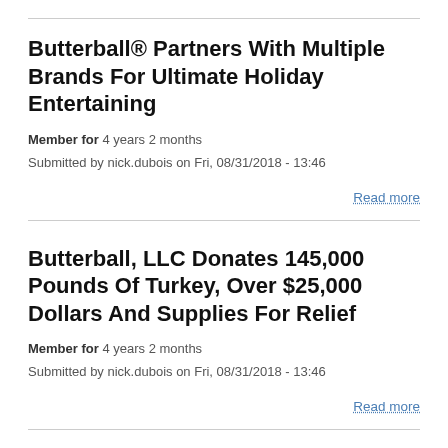Butterball® Partners With Multiple Brands For Ultimate Holiday Entertaining
Member for 4 years 2 months
Submitted by nick.dubois on Fri, 08/31/2018 - 13:46
Read more
Butterball, LLC Donates 145,000 Pounds Of Turkey, Over $25,000 Dollars And Supplies For Relief
Member for 4 years 2 months
Submitted by nick.dubois on Fri, 08/31/2018 - 13:46
Read more